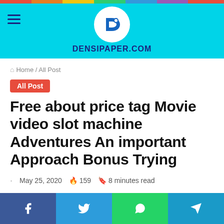DENSIPAPER.COM
Home / All Post
All Post
Free about price tag Movie video slot machine Adventures An important Approach Bonus Trying
May 25, 2020  159  8 minutes read